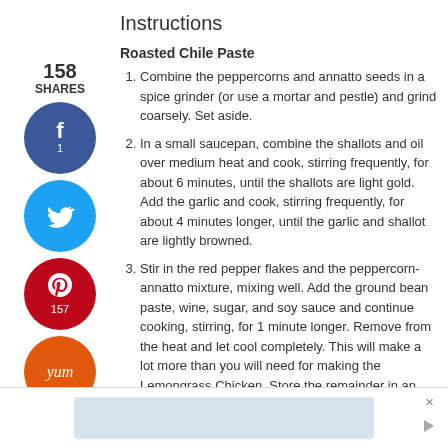Instructions
Roasted Chile Paste
Combine the peppercorns and annatto seeds in a spice grinder (or use a mortar and pestle) and grind coarsely. Set aside.
In a small saucepan, combine the shallots and oil over medium heat and cook, stirring frequently, for about 6 minutes, until the shallots are light gold. Add the garlic and cook, stirring frequently, for about 4 minutes longer, until the garlic and shallot are lightly browned.
Stir in the red pepper flakes and the peppercorn-annatto mixture, mixing well. Add the ground bean paste, wine, sugar, and soy sauce and continue cooking, stirring, for 1 minute longer. Remove from the heat and let cool completely. This will make a lot more than you will need for making the Lemongrass Chicken. Store the remainder in an airtight container in the refrigerator.
[Figure (infographic): Social share sidebar with 158 shares count, Facebook button (1 share), Twitter button, Pinterest button (157 shares), and Yummly button]
[Figure (infographic): Advertisement banner at the bottom of the page with light blue rectangle and close/arrow controls]